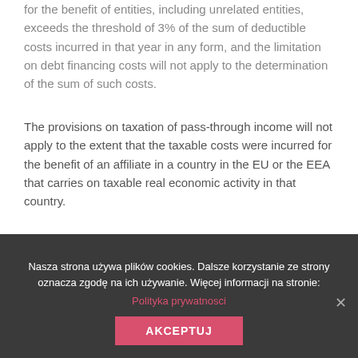for the benefit of entities, including unrelated entities, exceeds the threshold of 3% of the sum of deductible costs incurred in that year in any form, and the limitation on debt financing costs will not apply to the determination of the sum of such costs.
The provisions on taxation of pass-through income will not apply to the extent that the taxable costs were incurred for the benefit of an affiliate in a country in the EU or the EEA that carries on taxable real economic activity in that country.
Taxable subject and tax amount
The shifted income is not to be aggregated with other
Nasza strona używa plików cookies. Dalsze korzystanie ze strony oznacza zgodę na ich używanie. Więcej informacji na stronie:
Polityka prywatnosci
AKCEPTUJ